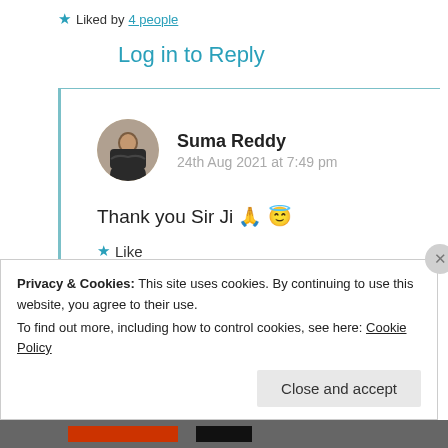★ Liked by 4 people
Log in to Reply
Suma Reddy
24th Aug 2021 at 7:49 pm
Thank you Sir Ji 🙏 😇
★ Like
Privacy & Cookies: This site uses cookies. By continuing to use this website, you agree to their use.
To find out more, including how to control cookies, see here: Cookie Policy
Close and accept